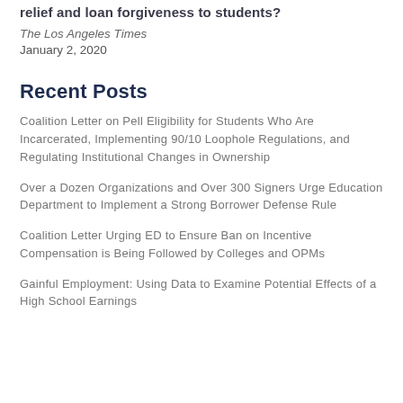relief and loan forgiveness to students?
The Los Angeles Times
January 2, 2020
Recent Posts
Coalition Letter on Pell Eligibility for Students Who Are Incarcerated, Implementing 90/10 Loophole Regulations, and Regulating Institutional Changes in Ownership
Over a Dozen Organizations and Over 300 Signers Urge Education Department to Implement a Strong Borrower Defense Rule
Coalition Letter Urging ED to Ensure Ban on Incentive Compensation is Being Followed by Colleges and OPMs
Gainful Employment: Using Data to Examine Potential Effects of a High School Earnings